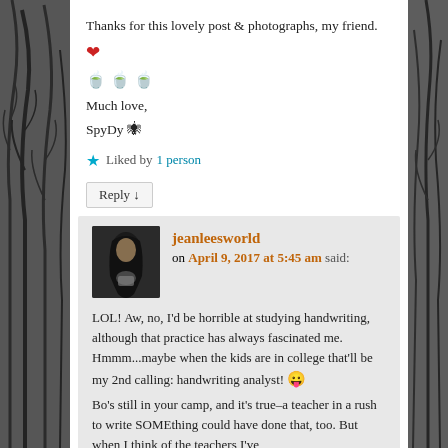Thanks for this lovely post & photographs, my friend.
❤️ 🍵🍵🍵 Much love, SpyDy 🕷
★ Liked by 1 person
Reply ↓
jeanleesworld on April 9, 2017 at 5:45 am said:
LOL! Aw, no, I'd be horrible at studying handwriting, although that practice has always fascinated me. Hmmm...maybe when the kids are in college that'll be my 2nd calling: handwriting analyst! 😛 Bo's still in your camp, and it's true–a teacher in a rush to write SOMEthing could have done that, too. But when I think of the teachers I've